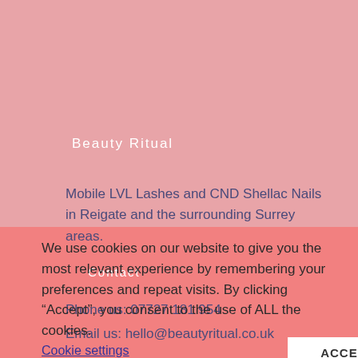Beauty Ritual
Mobile LVL Lashes and CND Shellac Nails in Reigate and the surrounding Surrey areas.
Contact
Phone us: 07727 181 954
Email us: hello@beautyritual.co.uk
We use cookies on our website to give you the most relevant experience by remembering your preferences and repeat visits. By clicking “Accept”, you consent to the use of ALL the cookies.
Cookie settings
ACCEPT